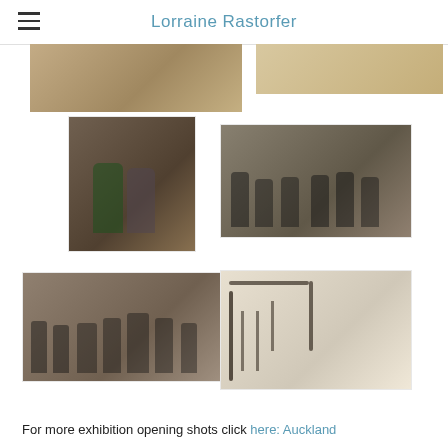Lorraine Rastorfer
[Figure (photo): Partially visible photo of gallery interior with wooden floor, top portion cropped]
[Figure (photo): Partially visible photo of gallery wall with artwork, top portion cropped]
[Figure (photo): Two women posing together at gallery opening, one in green coat, one in grey dress]
[Figure (photo): Group of people mingling at gallery opening with artworks visible on walls]
[Figure (photo): Group of people viewed from behind at gallery opening]
[Figure (photo): Staircase with ornate iron railing viewed from above, person visible below]
For more exhibition opening shots click here: Auckland